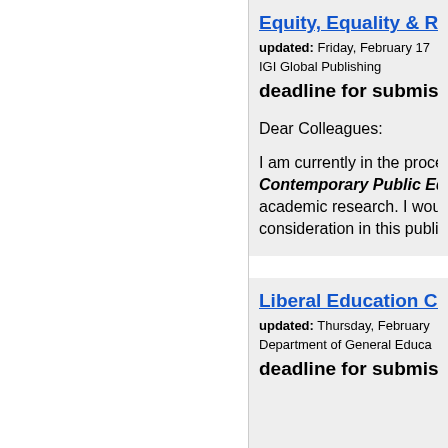Equity, Equality & Re...
updated: Friday, February 17...
IGI Global Publishing
deadline for submiss...
Dear Colleagues:
I am currently in the process o...
Contemporary Public Educ...
academic research. I would li...
consideration in this publicati...
Liberal Education Co...
updated: Thursday, February...
Department of General Educa...
deadline for submiss...